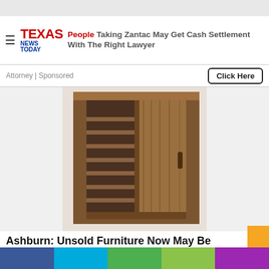[Figure (screenshot): Top banner advertisement gray strip]
Texas News Today — People Taking Zantac May Get Cash Settlement With The Right Lawyer
Attorney | Sponsored
Click Here
[Figure (photo): Wooden wardrobe/shoe cabinet with open shelving on left side and a sliding door on the right side, in brown walnut finish]
Ashburn: Unsold Furniture Now May Be